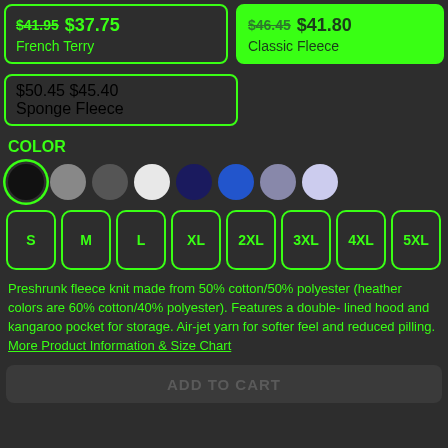$41.95 $37.75 French Terry
$46.45 $41.80 Classic Fleece
$50.45 $45.40 Sponge Fleece
COLOR
[Figure (other): Color swatches: black (selected), gray, dark gray, white, navy, blue, lavender, light blue]
[Figure (other): Size selector buttons: S, M, L, XL, 2XL, 3XL, 4XL, 5XL]
Preshrunk fleece knit made from 50% cotton/50% polyester (heather colors are 60% cotton/40% polyester). Features a double-lined hood and kangaroo pocket for storage. Air-jet yarn for softer feel and reduced pilling. More Product Information & Size Chart
ADD TO CART